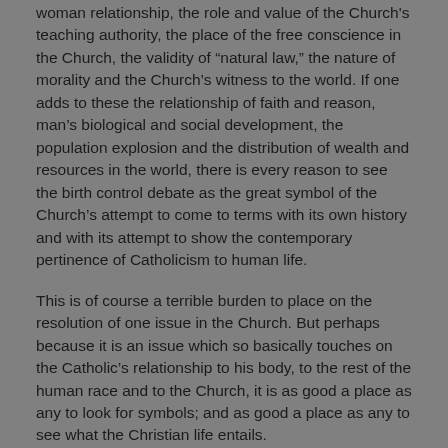woman relationship, the role and value of the Church's teaching authority, the place of the free conscience in the Church, the validity of "natural law," the nature of morality and the Church's witness to the world. If one adds to these the relationship of faith and reason, man's biological and social development, the population explosion and the distribution of wealth and resources in the world, there is every reason to see the birth control debate as the great symbol of the Church's attempt to come to terms with its own history and with its attempt to show the contemporary pertinence of Catholicism to human life.
This is of course a terrible burden to place on the resolution of one issue in the Church. But perhaps because it is an issue which so basically touches on the Catholic's relationship to his body, to the rest of the human race and to the Church, it is as good a place as any to look for symbols; and as good a place as any to see what the Christian life entails.
The publication by the National Catholic Reporter of the majority and minority reports of the papal birth control commission helps to make clear how deep and far-ranging the issue of contraception is. Neither of the reports contains anything particularly new; anyone who has been following the literature and the words of the most for